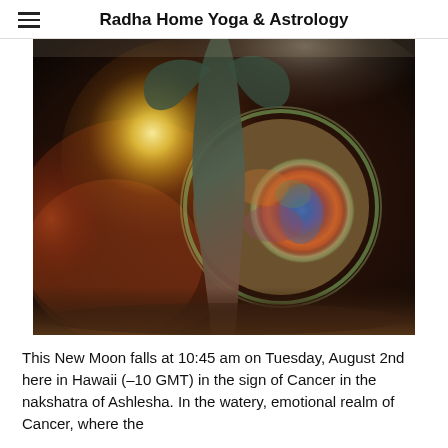Radha Home Yoga & Astrology
[Figure (illustration): Spiritual illustration of a feminine figure with arms raised, embracing or holding a large cosmic orb resembling Earth, surrounded by a glowing golden halo/moon and swirling cosmic colors of purple, green, gold, and red.]
This New Moon falls at 10:45 am on Tuesday, August 2nd here in Hawaii (-10 GMT) in the sign of Cancer in the nakshatra of Ashlesha. In the watery, emotional realm of Cancer, where the